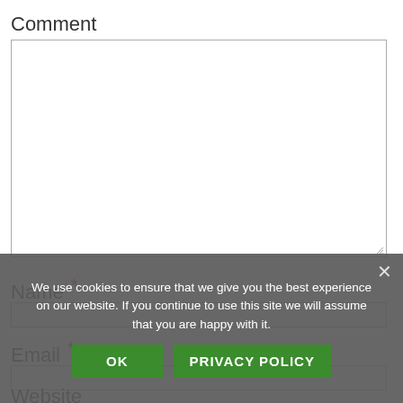Comment
[Figure (other): Empty comment textarea with resize handle]
Name *
[Figure (other): Name input field]
Email *
[Figure (other): Email input field]
Website
We use cookies to ensure that we give you the best experience on our website. If you continue to use this site we will assume that you are happy with it.
OK
PRIVACY POLICY